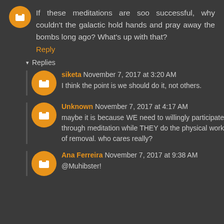If these meditations are soo successful, why couldn't the galactic hold hands and pray away the bombs long ago? What's up with that?
Reply
▾ Replies
siketa November 7, 2017 at 3:20 AM
I think the point is we should do it, not others.
Unknown November 7, 2017 at 4:17 AM
maybe it is because WE need to willingly participate through meditation while THEY do the physical work of removal. who cares really?
Ana Ferreira November 7, 2017 at 9:38 AM
@Muhibster!